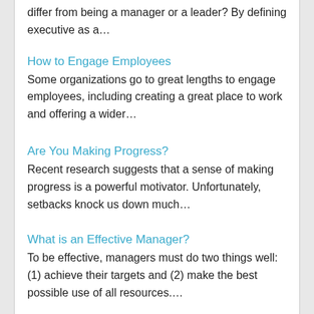differ from being a manager or a leader? By defining executive as a…
How to Engage Employees
Some organizations go to great lengths to engage employees, including creating a great place to work and offering a wider…
Are You Making Progress?
Recent research suggests that a sense of making progress is a powerful motivator. Unfortunately, setbacks knock us down much…
What is an Effective Manager?
To be effective, managers must do two things well: (1) achieve their targets and (2) make the best possible use of all resources….
What is Servant Leadership?